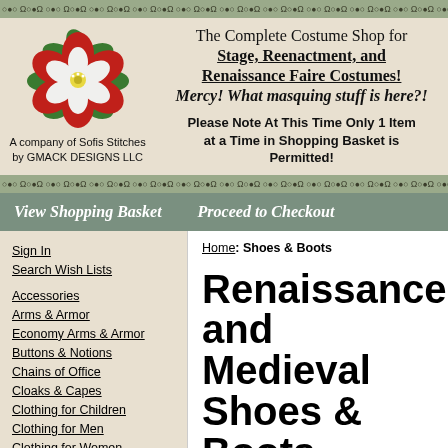Decorative top border
[Figure (illustration): Red and white Tudor rose with green leaves logo]
A company of Sofis Stitches by GMACK DESIGNS LLC
The Complete Costume Shop for Stage, Reenactment, and Renaissance Faire Costumes! Mercy! What masquing stuff is here?!
Please Note At This Time Only 1 Item at a Time in Shopping Basket is Permitted!
Decorative mid border
View Shopping Basket   Proceed to Checkout
Sign In
Search Wish Lists
Accessories
Arms & Armor
Economy Arms & Armor
Buttons & Notions
Chains of Office
Cloaks & Capes
Clothing for Children
Clothing for Men
Clothing for Women
Coins
Crowns & Circlets
Embroidered Emblems
Home: Shoes & Boots
Renaissance and Medieval Shoes & Boots